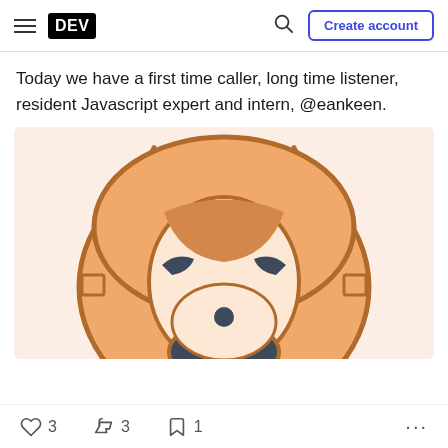DEV | Create account
Today we have a first time caller, long time listener, resident Javascript expert and intern, @eankeen.
[Figure (illustration): Fox face cartoon illustration with orange fur, dark ear tips, and dark eyebrow markings on a light peach/pink background]
3 likes, 3 reactions, 1 bookmark, more options